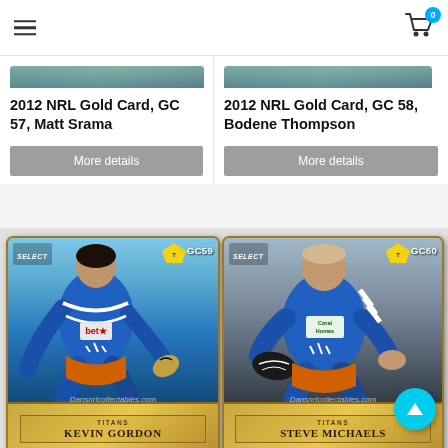Navigation bar with hamburger menu and shopping cart (0 items)
2012 NRL Gold Card, GC 57, Matt Srama
More details
2012 NRL Gold Card, GC 58, Bodene Thompson
More details
[Figure (photo): 2012 NRL Gold Card GC59 Kevin Gordon, Titans. Gold-bordered trading card showing player in blue jersey running with ball. Watermark: Dansnrlcollectables.com]
[Figure (photo): 2012 NRL Gold Card GC60 Steve Michaels, Titans. Gold-bordered trading card showing player in blue Coral Homes jersey holding rugby ball. Watermark: Dansnrlcollectables.com]